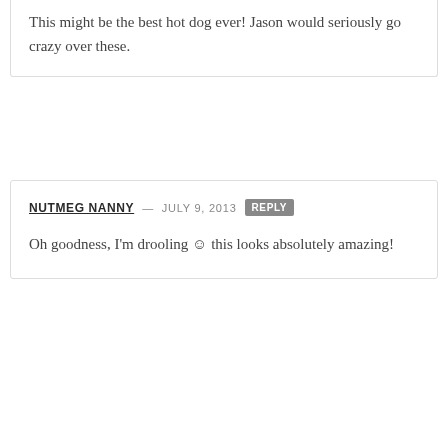This might be the best hot dog ever! Jason would seriously go crazy over these.
NUTMEG NANNY — JULY 9, 2013 REPLY
Oh goodness, I'm drooling ☺ this looks absolutely amazing!
[Figure (photo): Circular profile photo of a woman with glasses and red lipstick holding a young blonde child, partially cropped at bottom of page]